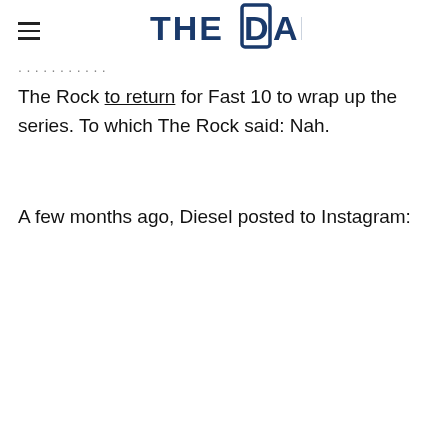THE DAD
The Rock to return for Fast 10 to wrap up the series. To which The Rock said: Nah.
A few months ago, Diesel posted to Instagram: